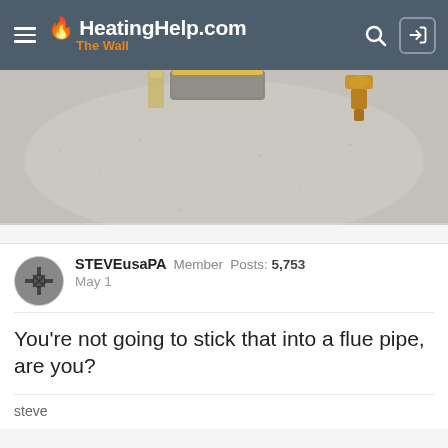HeatingHelp.com The Wall
[Figure (photo): Close-up photo of plumbing/heating fittings on a grey surface, showing brass fittings and a grey cylindrical component]
STEVEusaPA  Member  Posts: 5,753
May 1
You’re not going to stick that into a flue pipe, are you?
steve